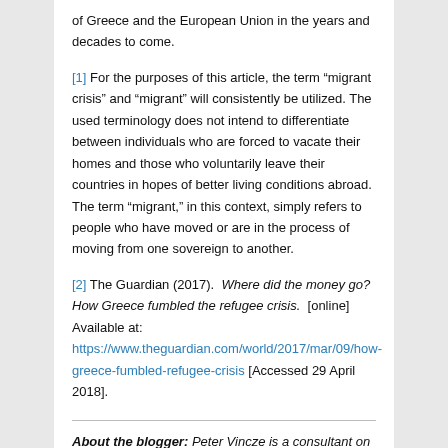of Greece and the European Union in the years and decades to come.
[1] For the purposes of this article, the term “migrant crisis” and “migrant” will consistently be utilized. The used terminology does not intend to differentiate between individuals who are forced to vacate their homes and those who voluntarily leave their countries in hopes of better living conditions abroad. The term “migrant,” in this context, simply refers to people who have moved or are in the process of moving from one sovereign to another.
[2] The Guardian (2017). Where did the money go? How Greece fumbled the refugee crisis. [online] Available at: https://www.theguardian.com/world/2017/mar/09/how-greece-fumbled-refugee-crisis [Accessed 29 April 2018].
About the blogger: Peter Vincze is a consultant on